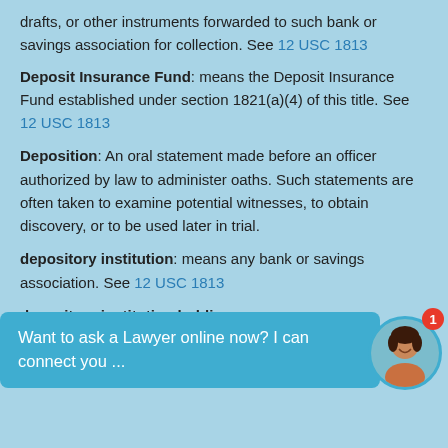drafts, or other instruments forwarded to such bank or savings association for collection. See 12 USC 1813
Deposit Insurance Fund: means the Deposit Insurance Fund established under section 1821(a)(4) of this title. See 12 USC 1813
Deposition: An oral statement made before an officer authorized by law to administer oaths. Such statements are often taken to examine potential witnesses, to obtain discovery, or to be used later in trial.
depository institution: means any bank or savings association. See 12 USC 1813
depository institution holding company: means a
Want to ask a Lawyer online now? I can connect you ...
designated reserve ratio: means the reserve ratio